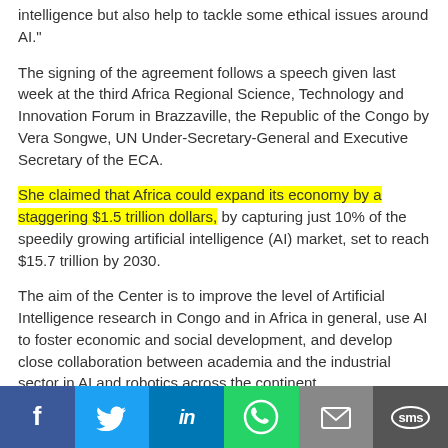intelligence but also help to tackle some ethical issues around AI."
The signing of the agreement follows a speech given last week at the third Africa Regional Science, Technology and Innovation Forum in Brazzaville, the Republic of the Congo by Vera Songwe, UN Under-Secretary-General and Executive Secretary of the ECA.
She claimed that Africa could expand its economy by a staggering $1.5 trillion dollars, by capturing just 10% of the speedily growing artificial intelligence (AI) market, set to reach $15.7 trillion by 2030.
The aim of the Center is to improve the level of Artificial Intelligence research in Congo and in Africa in general, use AI to foster economic and social development, and develop close collaboration between academia and the industrial sector in AI and robotics across the continent.
[Figure (infographic): Social media share bar with Facebook, Twitter, LinkedIn, WhatsApp, Email, and SMS buttons]